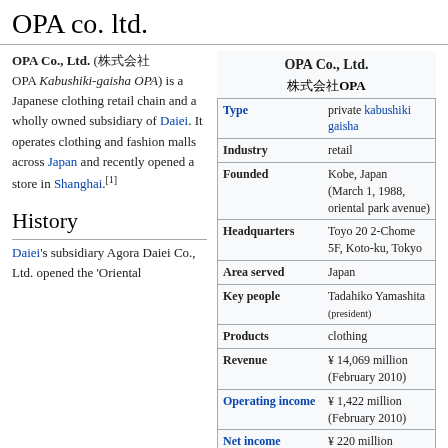OPA co. ltd.
OPA Co., Ltd. (株式会社OPA Kabushiki-gaisha OPA) is a Japanese clothing retail chain and a wholly owned subsidiary of Daiei. It operates clothing and fashion malls across Japan and recently opened a store in Shanghai.[1]
| Field | Value |
| --- | --- |
| OPA Co., Ltd. |  |
| 株式会社OPA |  |
| Type | private kabushiki gaisha |
| Industry | retail |
| Founded | Kobe, Japan (March 1, 1988, oriental park avenue) |
| Headquarters | Toyo 20 2-Chome 5F, Koto-ku, Tokyo |
| Area served | Japan |
| Key people | Tadahiko Yamashita (president) |
| Products | clothing |
| Revenue | ¥ 14,069 million (February 2010) |
| Operating income | ¥ 1,422 million (February 2010) |
| Net income | ¥ 220 million (February 2010) |
History
Daiei's subsidiary Agora Daiei Co., Ltd. opened the 'Oriental